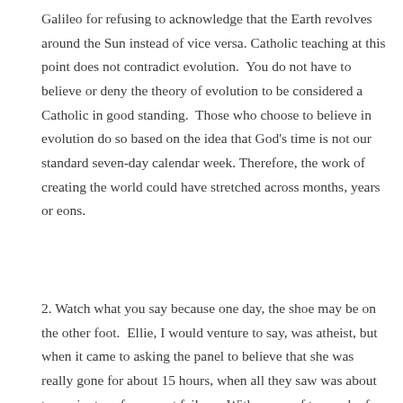Galileo for refusing to acknowledge that the Earth revolves around the Sun instead of vice versa. Catholic teaching at this point does not contradict evolution.  You do not have to believe or deny the theory of evolution to be considered a Catholic in good standing.  Those who choose to believe in evolution do so based on the idea that God's time is not our standard seven-day calendar week. Therefore, the work of creating the world could have stretched across months, years or eons.
2. Watch what you say because one day, the shoe may be on the other foot.  Ellie, I would venture to say, was atheist, but when it came to asking the panel to believe that she was really gone for about 15 hours, when all they saw was about two minutes of apparent failure.  With no proof to speak of, she asked them to have faith in her.  Sadly, her own arguments prior to her experience were used against